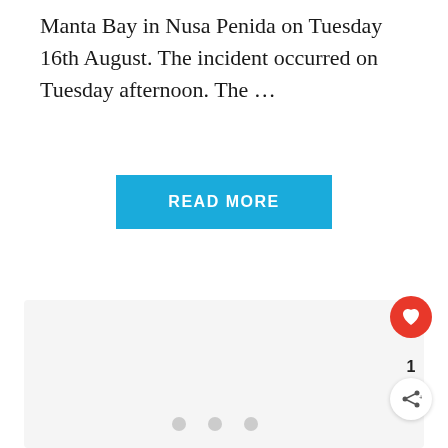Manta Bay in Nusa Penida on Tuesday 16th August. The incident occurred on Tuesday afternoon. The …
[Figure (other): Blue READ MORE button]
[Figure (other): Light grey card placeholder box with three grey dots (loading indicator) in the center, a red heart/like button with count '1' and a white share button in the bottom right corner]